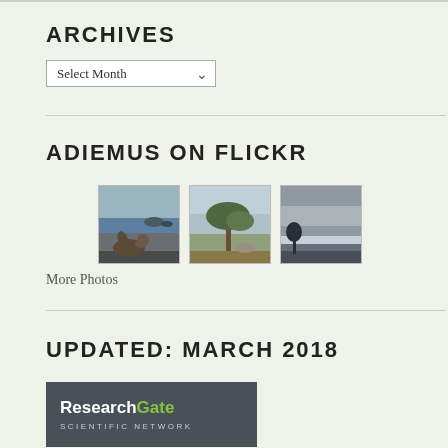ARCHIVES
Select Month
ADIEMUS ON FLICKR
[Figure (photo): Three thumbnail photos from Flickr: a seal on a rocky beach, a tree on grassy coastline, a stormy sky over the ocean]
More Photos
UPDATED: MARCH 2018
[Figure (logo): ResearchGate Scientific Network logo on dark gray background]